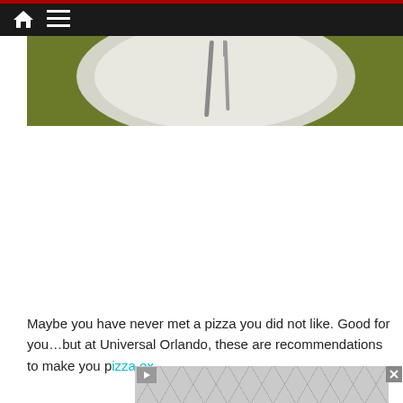Navigation bar with home and menu icons
[Figure (photo): Partial photo of a white plate with utensils on an olive/green background, cropped at top]
Maybe you have never met a pizza you did not like. Good for you…but at Universal Orlando, these are recommendations to make you pizza ex…